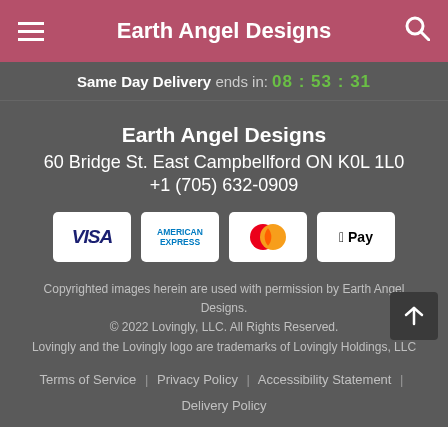Earth Angel Designs
Same Day Delivery ends in: 08 : 53 : 31
Earth Angel Designs
60 Bridge St. East Campbellford ON K0L 1L0
+1 (705) 632-0909
[Figure (logo): Payment method icons: Visa, American Express, Mastercard, Apple Pay]
Copyrighted images herein are used with permission by Earth Angel Designs.
© 2022 Lovingly, LLC. All Rights Reserved.
Lovingly and the Lovingly logo are trademarks of Lovingly Holdings, LLC
Terms of Service | Privacy Policy | Accessibility Statement | Delivery Policy